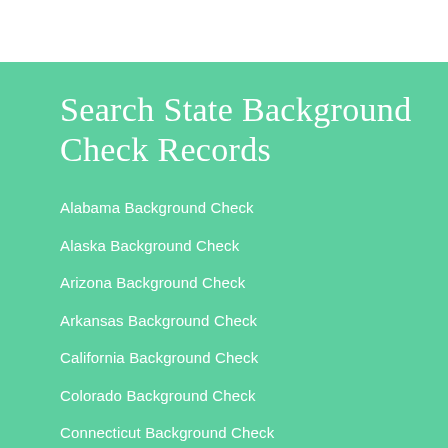Search State Background Check Records
Alabama Background Check
Alaska Background Check
Arizona Background Check
Arkansas Background Check
California Background Check
Colorado Background Check
Connecticut Background Check